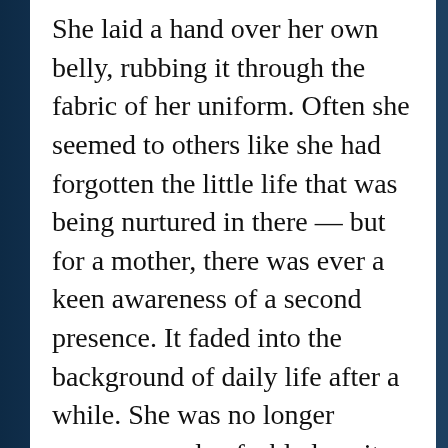She laid a hand over her own belly, rubbing it through the fabric of her uniform. Often she seemed to others like she had forgotten the little life that was being nurtured in there — but for a mother, there was ever a keen awareness of a second presence. It faded into the background of daily life after a while. She was no longer nauseous and enfeebled, so it was relatively easy to live with now. But it was there, and it needed special care.

Since realizing her pregnancy, Minardo had changed many of her old habits. She had stopped drinking. She had not gone